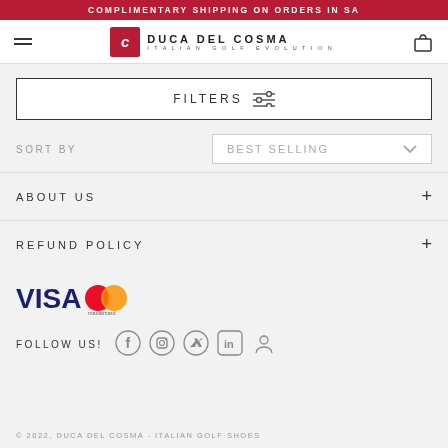COMPLIMENTARY SHIPPING ON ORDERS IN SA
[Figure (logo): Duca Del Cosma logo with red square icon and brand name DUCA DEL COSMA ITALIAN GOLF EVOLUTION]
FILTERS
SORT BY    BEST SELLING
ABOUT US
REFUND POLICY
[Figure (other): VISA and Mastercard payment logos]
FOLLOW US!
[Figure (other): Social media icons: Facebook, Instagram, Twitter, LinkedIn, User profile]
© 2022, DUCA DEL COSMA - ITALIAN GOLF SHOES